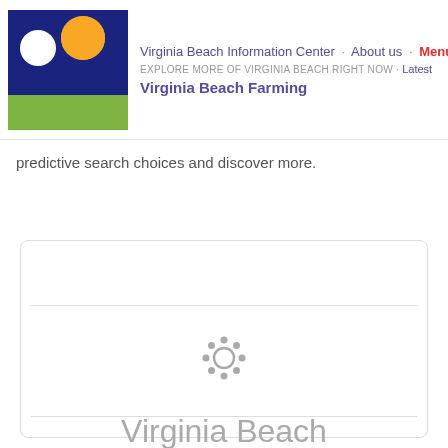Virginia Beach Information Center · About us · Menu EXPLORE MORE OF VIRGINIA BEACH RIGHT NOW · Latest Virginia Beach Farming
predictive search choices and discover more.
[Figure (other): Card with a sun/gear icon and the text 'Virginia Beach Farming' centered inside a rounded rectangle card]